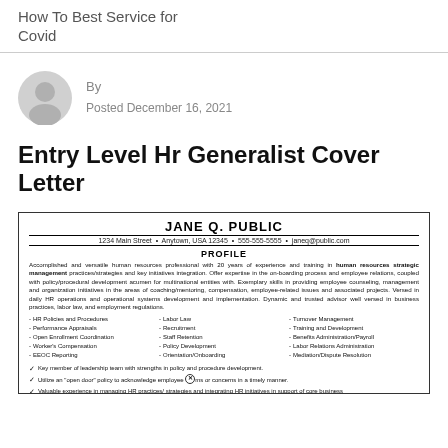How To Best Service for Covid
By
Posted December 16, 2021
Entry Level Hr Generalist Cover Letter
[Figure (other): A scanned resume for Jane Q. Public, showing contact info, a Profile section, skills list, and bullet points about leadership and HR experience.]